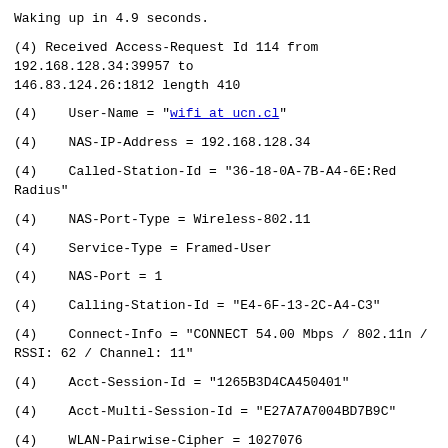Waking up in 4.9 seconds.
(4) Received Access-Request Id 114 from 192.168.128.34:39957 to 146.83.124.26:1812 length 410
(4)    User-Name = "wifi at ucn.cl"
(4)    NAS-IP-Address = 192.168.128.34
(4)    Called-Station-Id = "36-18-0A-7B-A4-6E:Red Radius"
(4)    NAS-Port-Type = Wireless-802.11
(4)    Service-Type = Framed-User
(4)    NAS-Port = 1
(4)    Calling-Station-Id = "E4-6F-13-2C-A4-C3"
(4)    Connect-Info = "CONNECT 54.00 Mbps / 802.11n / RSSI: 62 / Channel: 11"
(4)    Acct-Session-Id = "1265B3D4CA450401"
(4)    Acct-Multi-Session-Id = "E27A7A7004BD7B9C"
(4)    WLAN-Pairwise-Cipher = 1027076